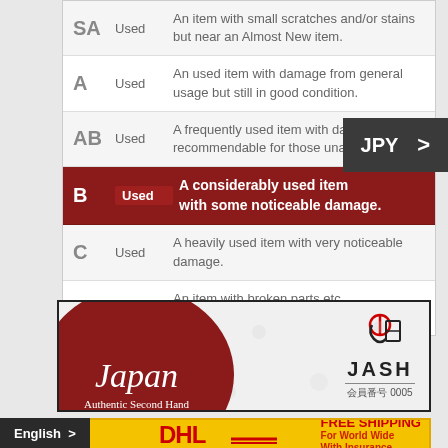| Grade | Condition | Description |
| --- | --- | --- |
| SA | Used | An item with small scratches and/or stains but near an Almost New item. |
| A | Used | An used item with damage from general usage but still in good condition. |
| AB | Used | A frequently used item with damage recommendable for those unaffecte... |
| B | Used | A considerably used item with some noticeable damage. |
| C | Used | A heavily used item with very noticeable damage. |
| D | Used | An item with broken parts etc. A non-functional junk item. |
[Figure (infographic): JPY currency selector button with arrow]
[Figure (logo): Japan Authentic Second Hand (JASH) banner with red circle logo and membership number 0005]
[Figure (infographic): DHL Free Shipping banner - FREE SHIPPING For World Wide With Insurance, with English language selector button]